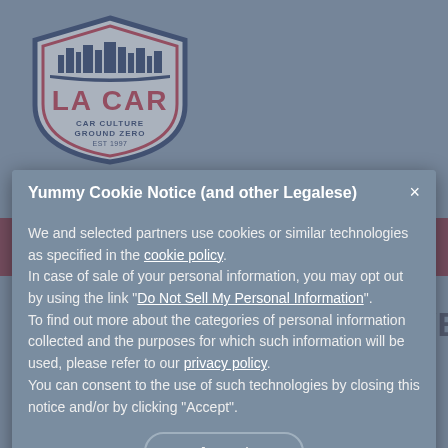[Figure (logo): LA CAR logo — shield shape with city skyline, 'LA CAR' in red, 'CAR CULTURE GROUND ZERO EST 1997' text]
Yummy Cookie Notice (and other Legalese)
We and selected partners use cookies or similar technologies as specified in the cookie policy. In case of sale of your personal information, you may opt out by using the link "Do Not Sell My Personal Information". To find out more about the categories of personal information collected and the purposes for which such information will be used, please refer to our privacy policy. You can consent to the use of such technologies by closing this notice and/or by clicking "Accept".
This article is from our archives and has not been updated and integrated with our "new" site yet...